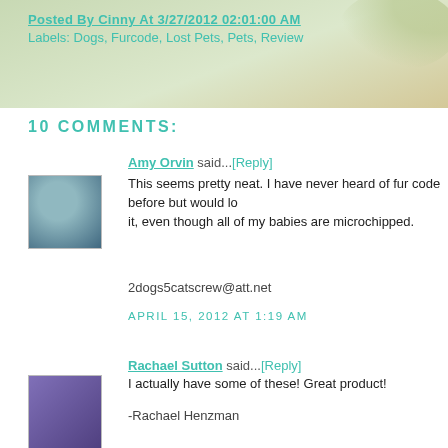Posted By Cinny At 3/27/2012 02:01:00 AM
Labels: Dogs, Furcode, Lost Pets, Pets, Review
10 COMMENTS:
Amy Orvin said...[Reply]
[Figure (photo): Avatar photo of Amy Orvin, a pet image in teal/blue tones]
This seems pretty neat. I have never heard of fur code before but would love to try it, even though all of my babies are microchipped.
2dogs5catscrew@att.net
APRIL 15, 2012 AT 1:19 AM
Rachael Sutton said...[Reply]
[Figure (photo): Avatar photo of Rachael Sutton, purple square]
I actually have some of these! Great product!
-Rachael Henzman
APRIL 15, 2012 AT 3:26 AM
emeraldmaz said...[Reply]
[Figure (logo): Orange circle Blogger avatar icon]
I'd like to try them, but I think you would need a regular tag as well since there are a lot of people around without the capability to scan the tag, or some people...